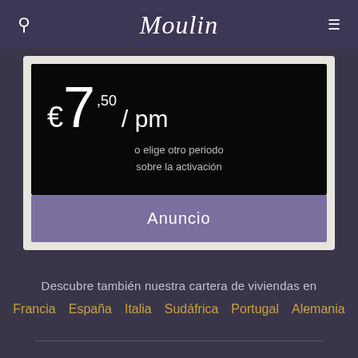Moulin
€7,50 / pm
o elige otro periodo sobre la activación
Anuncio
Descubre también nuestra cartera de viviendas en
Francia   España   Italia   Sudáfrica   Portugal   Alemania